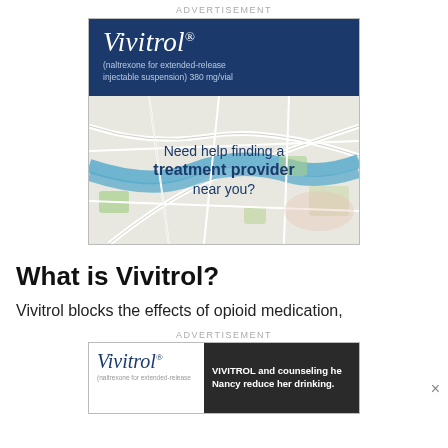ADVERTISEMENT
[Figure (illustration): Vivitrol advertisement banner showing the drug logo and tagline on a dark blue header, with a map background below and the text 'Need help finding a treatment provider near you?']
What is Vivitrol?
Vivitrol blocks the effects of opioid medication,
ADVERTISEMENT
[Figure (illustration): Second Vivitrol advertisement showing logo on white left side and 'VIVITROL and counseling helped Nancy reduce her drinking.' on dark right side]